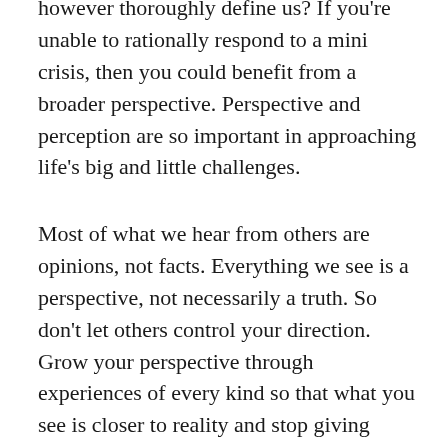how we react to challenges and obstacles can, however thoroughly define us? If you're unable to rationally respond to a mini crisis, then you could benefit from a broader perspective. Perspective and perception are so important in approaching life's big and little challenges.
Most of what we hear from others are opinions, not facts. Everything we see is a perspective, not necessarily a truth. So don't let others control your direction. Grow your perspective through experiences of every kind so that what you see is closer to reality and stop giving other people the power to set your limitations. If you take the time to listen to good and bad, real and fake, truth and lies… you will grow.